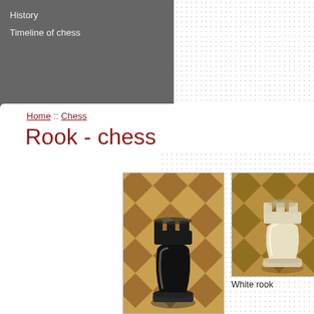History
Timeline of chess
Home :: Chess
Rook - chess
[Figure (photo): Black rook chess piece on a wooden chessboard]
[Figure (photo): White rook chess piece on a wooden chessboard]
White rook